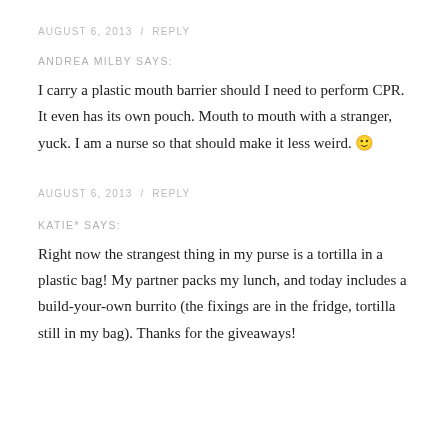AUGUST 6, 2013  /  REPLY
ANDREA MILBY SAYS:
I carry a plastic mouth barrier should I need to perform CPR. It even has its own pouch. Mouth to mouth with a stranger, yuck. I am a nurse so that should make it less weird. 🙂
AUGUST 6, 2013  /  REPLY
KATIE* SAYS:
Right now the strangest thing in my purse is a tortilla in a plastic bag! My partner packs my lunch, and today includes a build-your-own burrito (the fixings are in the fridge, tortilla still in my bag). Thanks for the giveaways!